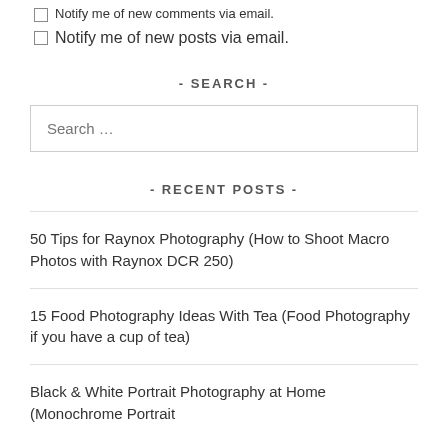Notify me of new comments via email.
Notify me of new posts via email.
- SEARCH -
Search …
- RECENT POSTS -
50 Tips for Raynox Photography (How to Shoot Macro Photos with Raynox DCR 250)
15 Food Photography Ideas With Tea (Food Photography if you have a cup of tea)
Black & White Portrait Photography at Home (Monochrome Portrait